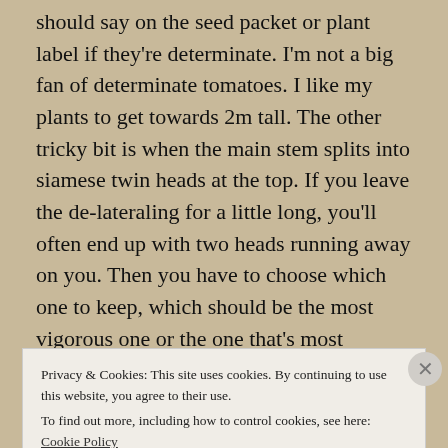should say on the seed packet or plant label if they're determinate. I'm not a big fan of determinate tomatoes. I like my plants to get towards 2m tall. The other tricky bit is when the main stem splits into siamese twin heads at the top. If you leave the de-lateraling for a little long, you'll often end up with two heads running away on you. Then you have to choose which one to keep, which should be the most vigorous one or the one that's most convenient for tying. When laterals have gotten too hungus, it's best to cut them off rather than snap them.
Privacy & Cookies: This site uses cookies. By continuing to use this website, you agree to their use.
To find out more, including how to control cookies, see here: Cookie Policy